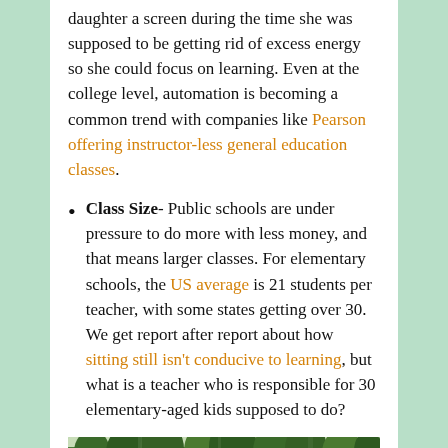daughter a screen during the time she was supposed to be getting rid of excess energy so she could focus on learning. Even at the college level, automation is becoming a common trend with companies like Pearson offering instructor-less general education classes.
Class Size- Public schools are under pressure to do more with less money, and that means larger classes. For elementary schools, the US average is 21 students per teacher, with some states getting over 30. We get report after report about how sitting still isn't conducive to learning, but what is a teacher who is responsible for 30 elementary-aged kids supposed to do?
[Figure (photo): Photo of a forest with tall green trees]